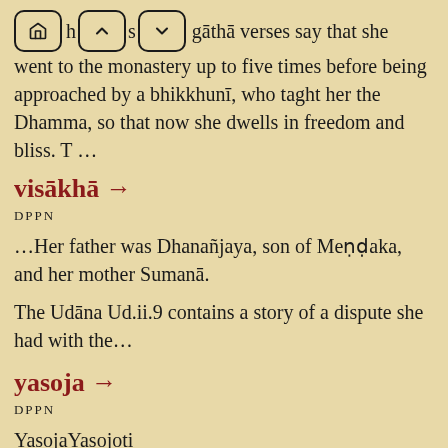gāthā verses say that she went to the monastery up to five times before being approached by a bhikkhunī, who taght her the Dhamma, so that now she dwells in freedom and bliss. T …
visākhā →
DPPN
…Her father was Dhanañjaya, son of Meṇḍaka, and her mother Sumanā.
The Udāna Ud.ii.9 contains a story of a dispute she had with the…
yasoja →
DPPN
YasojaYasojoti